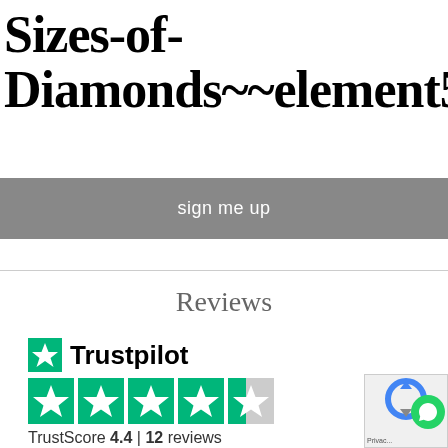Sizes-of-Diamonds~~element568
sign me up
Reviews
[Figure (logo): Trustpilot logo with green star icon, four full green star rating squares and one partial green star square, TrustScore 4.4 | 12 reviews]
[Figure (other): reCAPTCHA privacy badge with WhatsApp icon overlay, partially visible]